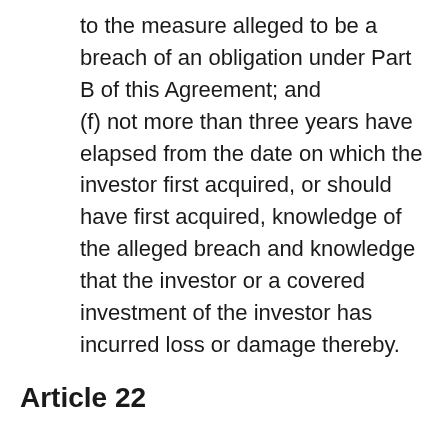to the measure alleged to be a breach of an obligation under Part B of this Agreement; and
(f) not more than three years have elapsed from the date on which the investor first acquired, or should have first acquired, knowledge of the alleged breach and knowledge that the investor or a covered investment of the investor has incurred loss or damage thereby.
Article 22